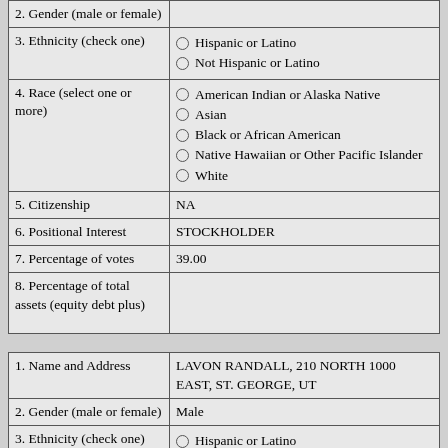| Field | Value |
| --- | --- |
| 2. Gender (male or female) |  |
| 3. Ethnicity (check one) | Hispanic or Latino
Not Hispanic or Latino |
| 4. Race (select one or more) | American Indian or Alaska Native
Asian
Black or African American
Native Hawaiian or Other Pacific Islander
White |
| 5. Citizenship | NA |
| 6. Positional Interest | STOCKHOLDER |
| 7. Percentage of votes | 39.00 |
| 8. Percentage of total assets (equity debt plus) |  |
| Field | Value |
| --- | --- |
| 1. Name and Address | LAVON RANDALL, 210 NORTH 1000 EAST, ST. GEORGE, UT |
| 2. Gender (male or female) | Male |
| 3. Ethnicity (check one) | Hispanic or Latino
Not Hispanic or Latino (selected) |
| 4. Race (select one or more) | American Indian or Alaska Native |